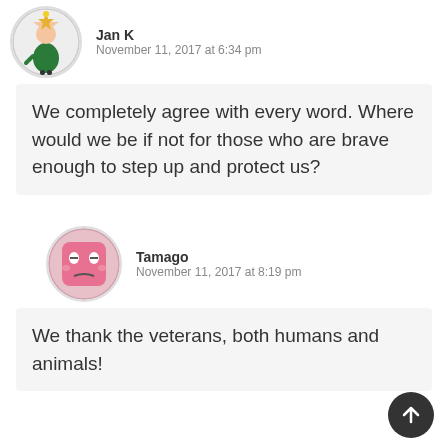Jan K
November 11, 2017 at 6:34 pm
We completely agree with every word. Where would we be if not for those who are brave enough to step up and protect us?
Tamago
November 11, 2017 at 8:19 pm
We thank the veterans, both humans and animals!